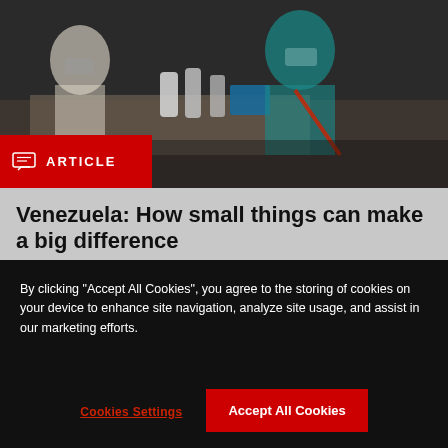[Figure (photo): People wearing masks at a table with sanitizer bottles and supplies, likely a health or aid distribution setting in Venezuela.]
Venezuela: How small things can make a big difference
03 AUG 22
By clicking "Accept All Cookies", you agree to the storing of cookies on your device to enhance site navigation, analyze site usage, and assist in our marketing efforts.
Cookies Settings
Accept All Cookies